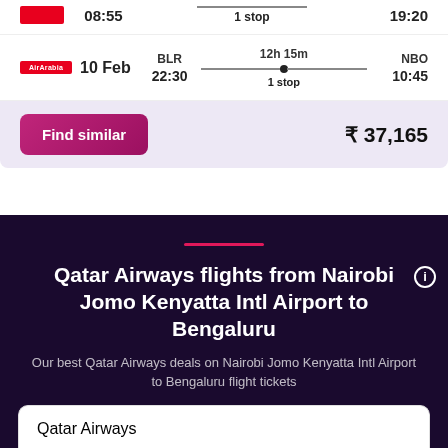[Figure (screenshot): Flight booking UI card showing AirArabia flight on 10 Feb from BLR 22:30 to NBO 10:45, 12h 15m, 1 stop. Find similar button with price ₹ 37,165.]
Qatar Airways flights from Nairobi Jomo Kenyatta Intl Airport to Bengaluru
Our best Qatar Airways deals on Nairobi Jomo Kenyatta Intl Airport to Bengaluru flight tickets
Qatar Airways